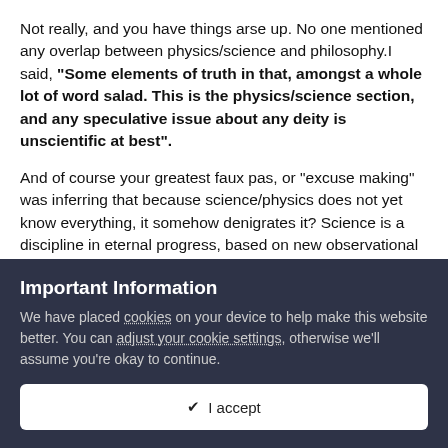Not really, and you have things arse up. No one mentioned any overlap between physics/science and philosophy.I said, "Some elements of truth in that, amongst a whole lot of word salad. This is the physics/science section, and any speculative issue about any deity is unscientific at best".
And of course your greatest faux pas, or "excuse making" was inferring that because science/physics does not yet know everything, it somehow denigrates it? Science is a discipline in eternal progress, based on new observational and experimental evidence, along with the tried and true scientific methodology and the philosophy that underlies that. And again just to re-enforce another fact, and discussion of supernatural or paranormal nonsense, is just that, nonsense, plus
Important Information
We have placed cookies on your device to help make this website better. You can adjust your cookie settings, otherwise we'll assume you're okay to continue.
✔ I accept